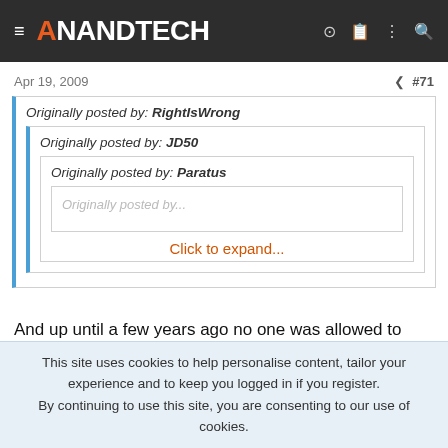AnandTech
Apr 19, 2009   #71
Originally posted by: RightIsWrong
Originally posted by: JD50
Originally posted by: Paratus
Click to expand...
And up until a few years ago no one was allowed to marry someone of the same sex. Anti-gay marriage people made the exact argument
This site uses cookies to help personalise content, tailor your experience and to keep you logged in if you register.
By continuing to use this site, you are consenting to our use of cookies.